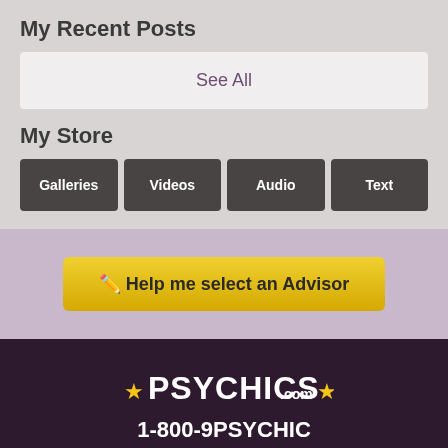My Recent Posts
See All
My Store
Galleries
Videos
Audio
Text
✦ Help me select an Advisor
[Figure (logo): PSYCHICS.COM logo with star accents on dark purple background]
1-800-9PSYCHIC
Copyright © 2010-2022 TL Holdings